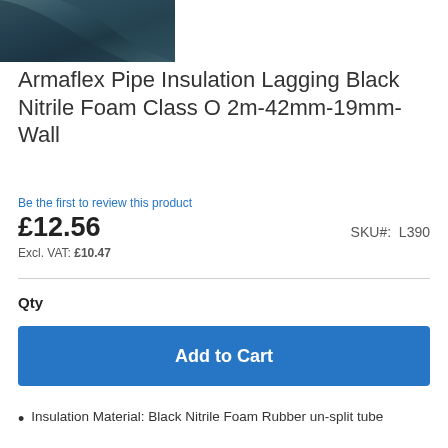[Figure (photo): Partial product photo of dark teal/black Armaflex pipe insulation material, cropped showing corner of the material]
Armaflex Pipe Insulation Lagging Black Nitrile Foam Class O 2m-42mm-19mm-Wall
Be the first to review this product
£12.56
Excl. VAT: £10.47
SKU#:  L390
Qty
Add to Cart
Insulation Material: Black Nitrile Foam Rubber un-split tube